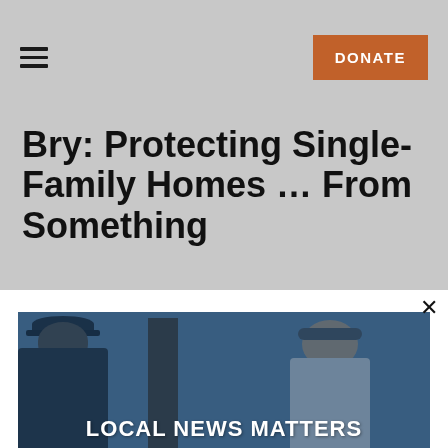≡  DONATE
Bry: Protecting Single-Family Homes … From Something
[Figure (photo): Two people conversing outdoors near a tree. One person is seen from behind wearing a dark jacket and cap. The other, a woman, faces the camera with sunglasses on her head, wearing a striped shirt. The image has a blue-tinted overlay with text 'LOCAL NEWS MATTERS' at the bottom.]